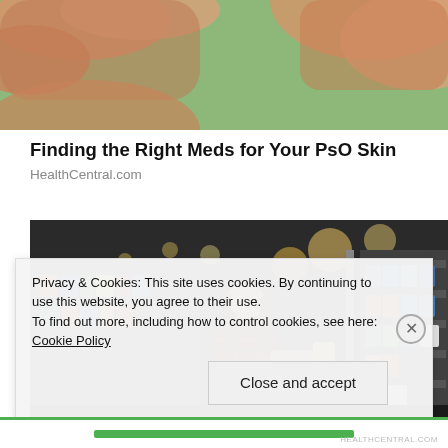[Figure (photo): Close-up of hands (fingers touching or picking up a pill), green background]
Finding the Right Meds for Your PsO Skin
HealthCentral.com
[Figure (photo): Woman in a plaid shirt reading a product label in a pharmacy or drugstore aisle with shelves of products]
Privacy & Cookies: This site uses cookies. By continuing to use this website, you agree to their use.
To find out more, including how to control cookies, see here: Cookie Policy